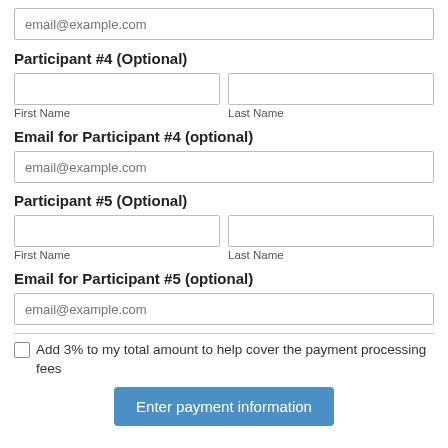email@example.com (input field, top)
Participant #4 (Optional)
First Name / Last Name fields
Email for Participant #4 (optional)
email@example.com (input field)
Participant #5 (Optional)
First Name / Last Name fields
Email for Participant #5 (optional)
email@example.com (input field)
Add 3% to my total amount to help cover the payment processing fees
Enter payment information